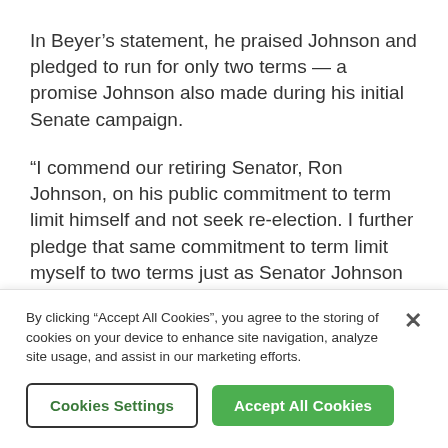In Beyer's statement, he praised Johnson and pledged to run for only two terms — a promise Johnson also made during his initial Senate campaign.
“I commend our retiring Senator, Ron Johnson, on his public commitment to term limit himself and not seek re-election. I further pledge that same commitment to term limit myself to two terms just as Senator Johnson has, ensuring I, like him, also remain focused on the limited time of two terms to get things done for
By clicking “Accept All Cookies”, you agree to the storing of cookies on your device to enhance site navigation, analyze site usage, and assist in our marketing efforts.
Cookies Settings
Accept All Cookies